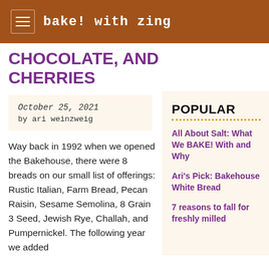bake! with zing
CHOCOLATE, AND CHERRIES
October 25, 2021
by ari weinzweig
Way back in 1992 when we opened the Bakehouse, there were 8 breads on our small list of offerings: Rustic Italian, Farm Bread, Pecan Raisin, Sesame Semolina, 8 Grain 3 Seed, Jewish Rye, Challah, and Pumpernickel. The following year we added
POPULAR
All About Salt: What We BAKE! With and Why
Ari's Pick: Bakehouse White Bread
7 reasons to fall for freshly milled